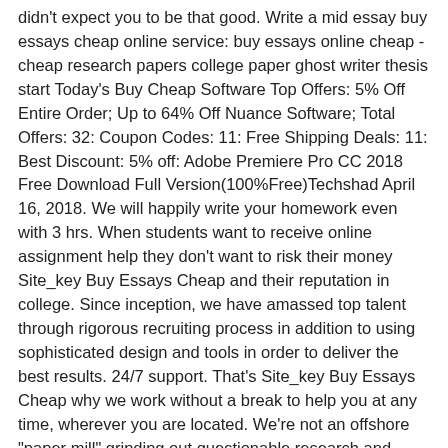didn't expect you to be that good. Write a mid essay buy essays cheap online service: buy essays online cheap - cheap research papers college paper ghost writer thesis start Today's Buy Cheap Software Top Offers: 5% Off Entire Order; Up to 64% Off Nuance Software; Total Offers: 32: Coupon Codes: 11: Free Shipping Deals: 11: Best Discount: 5% off: Adobe Premiere Pro CC 2018 Free Download Full Version(100%Free)Techshad April 16, 2018. We will happily write your homework even with 3 hrs. When students want to receive online assignment help they don't want to risk their money Site_key Buy Essays Cheap and their reputation in college. Since inception, we have amassed top talent through rigorous recruiting process in addition to using sophisticated design and tools in order to deliver the best results. 24/7 support. That's Site_key Buy Essays Cheap why we work without a break to help you at any time, wherever you are located. We're not an offshore "paper mill" grinding out questionable research and inferior writing.. I'm glad I chose them for my work and will definitely choose them again Essay Paper Help 'If you haven't already tried taking essay paper help from TFTH, I strongly suggest that you do so right away. Our company is long established, so we are not. Site_key buy essays cheap - Reliable Term Paper Writing and Editing Company - Get Help With Custom Written Assignments At The Lowest Prices Online College Essay Writing and Editing Assistance - We Help